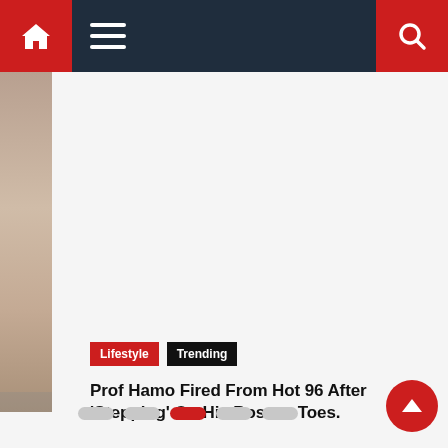Navigation bar with home, menu, and search icons
[Figure (photo): Partial thumbnail image visible on the left edge of the content area]
Lifestyle   Trending
Prof Hamo Fired From Hot 96 After ‘Stepping’ On His Bosses Toes.